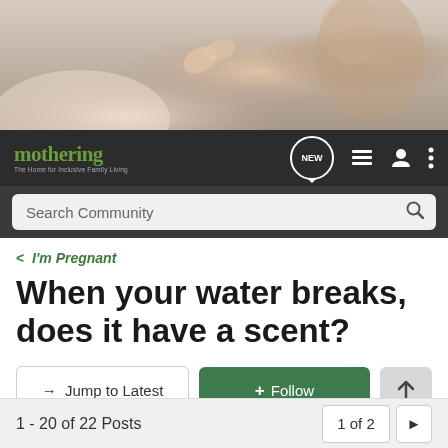[Figure (photo): Hero banner image showing a pregnant belly, baby feet, and a mother with baby — warm skin tones]
[Figure (screenshot): Mothering website navigation bar with logo, NEW button, list icon, user icon, and menu icon]
[Figure (screenshot): Search Community search bar on dark background]
I'm Pregnant
When your water breaks, does it have a scent?
→ Jump to Latest
+ Follow
1 - 20 of 22 Posts
1 of 2